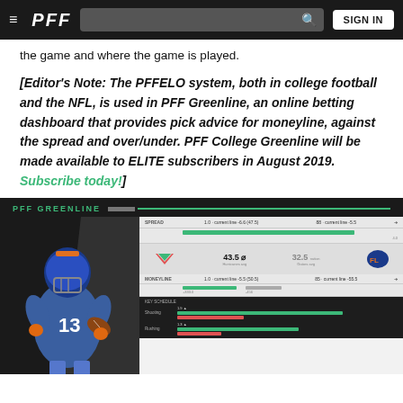PFF — SIGN IN
the game and where the game is played.
[Editor's Note: The PFFELO system, both in college football and the NFL, is used in PFF Greenline, an online betting dashboard that provides pick advice for moneyline, against the spread and over/under. PFF College Greenline will be made available to ELITE subscribers in August 2019.  Subscribe today!]
[Figure (screenshot): PFF Greenline promotional banner showing a Florida Gators football player alongside a dashboard screenshot with team matchup data (43.5 vs 32.5), betting lines, and horizontal bar charts comparing team statistics.]